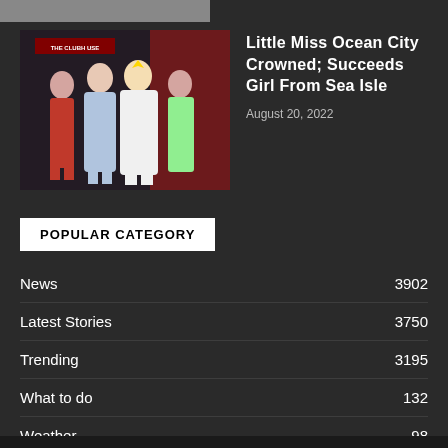[Figure (photo): Partially visible image strip at top of page, grey/dark]
[Figure (photo): Thumbnail photo of Little Miss Ocean City pageant contestants in formal gowns on stage with red curtain background, banner reading THE CLUBHOUSE]
Little Miss Ocean City Crowned; Succeeds Girl From Sea Isle
August 20, 2022
POPULAR CATEGORY
News  3902
Latest Stories  3750
Trending  3195
What to do  132
Weather  98
do not include in newsletter  62